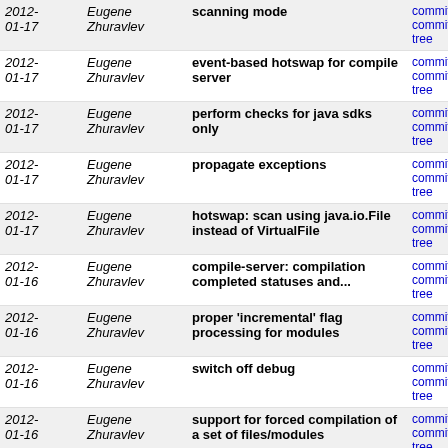| Date | Author | Message | Links |
| --- | --- | --- | --- |
| 2012-01-17 | Eugene Zhuravlev | scanning mode | commit | commitdiff | tree |
| 2012-01-17 | Eugene Zhuravlev | event-based hotswap for compile server | commit | commitdiff | tree |
| 2012-01-17 | Eugene Zhuravlev | perform checks for java sdks only | commit | commitdiff | tree |
| 2012-01-17 | Eugene Zhuravlev | propagate exceptions | commit | commitdiff | tree |
| 2012-01-17 | Eugene Zhuravlev | hotswap: scan using java.io.File instead of VirtualFile | commit | commitdiff | tree |
| 2012-01-16 | Eugene Zhuravlev | compile-server: compilation completed statuses and... | commit | commitdiff | tree |
| 2012-01-16 | Eugene Zhuravlev | proper 'incremental' flag processing for modules | commit | commitdiff | tree |
| 2012-01-16 | Eugene Zhuravlev | switch off debug | commit | commitdiff | tree |
| 2012-01-16 | Eugene Zhuravlev | support for forced compilation of a set of files/modules | commit | commitdiff | tree |
| 2012-01-15 | Eugene Zhuravlev | fixes: | commit | commitdiff | tree |
| 2012-01-13 | Eugene Zhuravlev | build cancellation support for jps-based compilation | commit | commitdiff | tree |
| 2012-01-13 | Eugene Zhuravlev | support progress for jps-based compilation | commit | commitdiff | tree |
| 2012-01-13 | Eugene Zhuravlev | use persistent deltas to minimize memory usage | commit | commitdiff | tree |
| 2012-01-13 | Eugene Zhuravlev | clear appenders cache when iteration over keys | commit | commitdiff | tree |